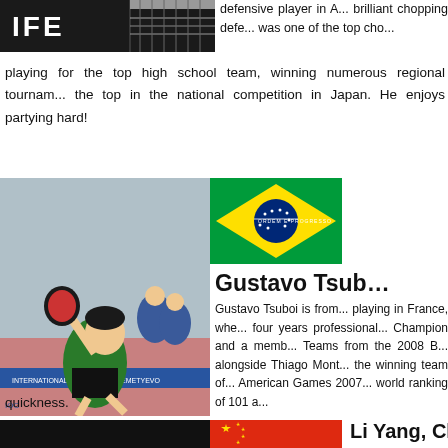[Figure (photo): Partial image showing 'IFE' text and table tennis net on dark background]
defensive player in A... brilliant chopping defe... was one of the top cho...
playing for the top high school team, winning numerous regional tournam... the top in the national competition in Japan. He enjoys partying hard!
[Figure (photo): Photo of Gustavo Tsuboi playing table tennis in green and white uniform, jumping mid-action]
[Figure (photo): Brazil flag]
Gustavo Tsub...
Gustavo Tsuboi is from... playing in France, whe... four years professional... Champion and a memb... Teams from the 2008 B... alongside Thiago Mont... the winning team of... American Games 2007... world ranking of 101 a...
quickness.
[Figure (photo): Bottom partial image, dark background]
[Figure (photo): China flag]
Li Yang, China...